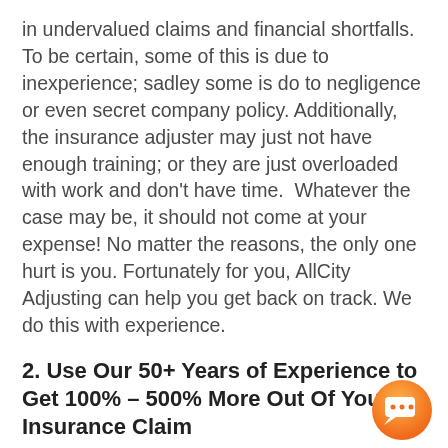in undervalued claims and financial shortfalls. To be certain, some of this is due to inexperience; sadley some is do to negligence or even secret company policy. Additionally, the insurance adjuster may just not have enough training; or they are just overloaded with work and don't have time.  Whatever the case may be, it should not come at your expense! No matter the reasons, the only one hurt is you. Fortunately for you, AllCity Adjusting can help you get back on track. We do this with experience.
2. Use Our 50+ Years of Experience to Get 100% – 500% More Out Of Your Insurance Claim
We are experienced in the complex insurance industry jargon that confuses
[Figure (other): Orange chat bubble icon in bottom right corner]